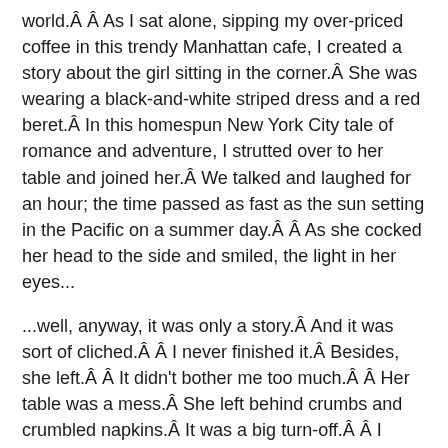world.Â Â  As I sat alone, sipping my over-priced coffee in this trendy Manhattan cafe, I created a story about the girl sitting in the corner.Â  She was wearing a black-and-white striped dress and a red beret.Â  In this homespun New York City tale of romance and adventure, I strutted over to her table and joined her.Â  We talked and laughed for an hour; the time passed as fast as the sun setting in the Pacific on a summer day.Â Â  As she cocked her head to the side and smiled, the light in her eyes...
...well, anyway, it was only a story.Â  And it was sort of cliched.Â Â  I never finished it.Â  Besides, she left.Â Â  It didn't bother me too much.Â Â  Her table was a mess.Â  She left behind crumbs and crumbled napkins.Â  It was a big turn-off.Â Â  I probably should have just photographed her, so I would always remember what she looked like.Â Â  Already, her image is fading, like an old Polaroid.